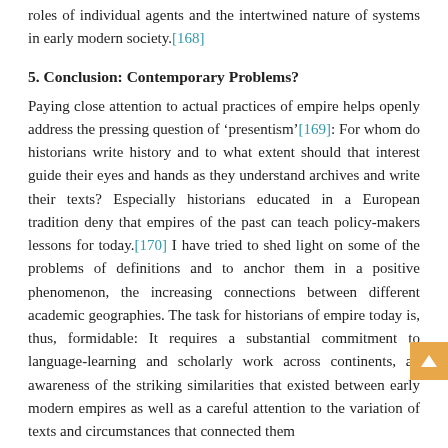roles of individual agents and the intertwined nature of systems in early modern society.[168]
5. Conclusion: Contemporary Problems?
Paying close attention to actual practices of empire helps openly address the pressing question of 'presentism'[169]: For whom do historians write history and to what extent should that interest guide their eyes and hands as they understand archives and write their texts? Especially historians educated in a European tradition deny that empires of the past can teach policy-makers lessons for today.[170] I have tried to shed light on some of the problems of definitions and to anchor them in a positive phenomenon, the increasing connections between different academic geographies. The task for historians of empire today is, thus, formidable: It requires a substantial commitment to language-learning and scholarly work across continents, an awareness of the striking similarities that existed between early modern empires as well as a careful attention to the variation of texts and circumstances that connected them